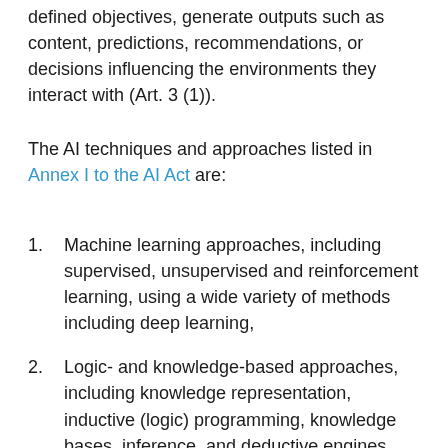defined objectives, generate outputs such as content, predictions, recommendations, or decisions influencing the environments they interact with (Art. 3 (1)).
The AI techniques and approaches listed in Annex I to the AI Act are:
Machine learning approaches, including supervised, unsupervised and reinforcement learning, using a wide variety of methods including deep learning,
Logic- and knowledge-based approaches, including knowledge representation, inductive (logic) programming, knowledge bases, inference, and deductive engines, (symbolic) reasoning and expert systems,